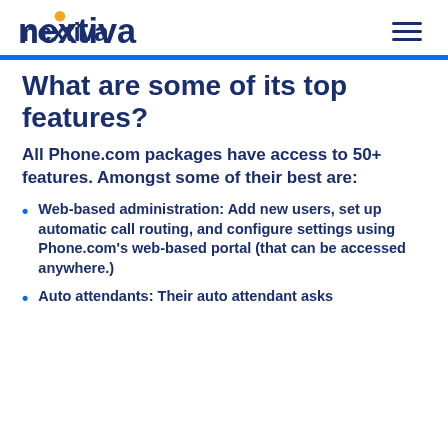nextiva
What are some of its top features?
All Phone.com packages have access to 50+ features. Amongst some of their best are:
Web-based administration: Add new users, set up automatic call routing, and configure settings using Phone.com's web-based portal (that can be accessed anywhere.)
Auto attendants: Their auto attendant asks